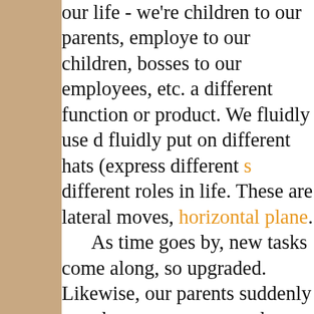our life - we're children to our parents, employees to our children, bosses to our employees, etc. a different function or product. We fluidly use o fluidly put on different hats (express different s different roles in life. These are lateral moves, horizontal plane. As time goes by, new tasks come along, so upgraded. Likewise, our parents suddenly requ become teenagers, the scope of work our com with all of these changes come new tasks, for upgrade our skills. One or a few of these challe additional lateral moves, on the horizontal plan However, when our environment changes g we must respond with a much deeper, more pr different change - on the vertical plane. Sad those who care for our mind-body-spirit, are on navigate the common horizontal plane - com "shipwrecks".